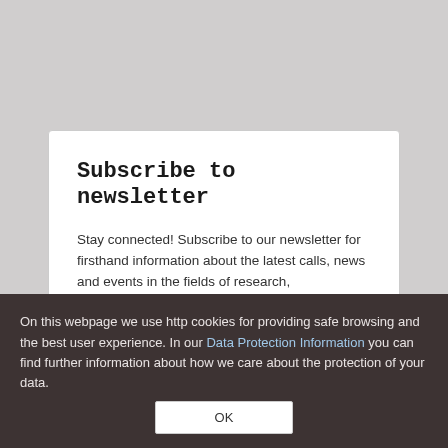Subscribe to newsletter
Stay connected! Subscribe to our newsletter for firsthand information about the latest calls, news and events in the fields of research, development and innovation.
How to call you?
Your e-mail address?
On this webpage we use http cookies for providing safe browsing and the best user experience. In our Data Protection Information you can find further information about how we care about the protection of your data.
OK